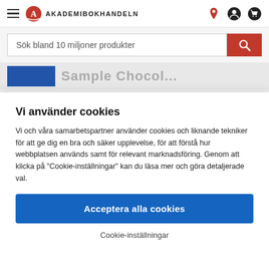[Figure (screenshot): Akademibokhandeln website navigation bar with hamburger menu, logo, brand name, and icons for location, account, and cart]
[Figure (screenshot): Search bar with placeholder text 'Sök bland 10 miljoner produkter' and red search button]
Vi använder cookies
Vi och våra samarbetspartner använder cookies och liknande tekniker för att ge dig en bra och säker upplevelse, för att förstå hur webbplatsen används samt för relevant marknadsföring. Genom att klicka på "Cookie-inställningar" kan du läsa mer och göra detaljerade val.
Acceptera alla cookies
Cookie-inställningar